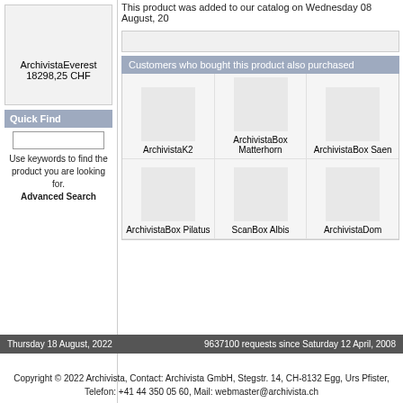ArchivistaEverest
18298,25 CHF
Quick Find
Use keywords to find the product you are looking for.
Advanced Search
This product was added to our catalog on Wednesday 08 August, 20
Customers who bought this product also purchased
ArchivistaK2
ArchivistaBox Matterhorn
ArchivistaBox Saen
ArchivistaBox Pilatus
ScanBox Albis
ArchivistaDom
Thursday 18 August, 2022    9637100 requests since Saturday 12 April, 2008
Copyright © 2022 Archivista, Contact: Archivista GmbH, Stegstr. 14, CH-8132 Egg, Urs Pfister, Telefon: +41 44 350 05 60, Mail: webmaster@archivista.ch